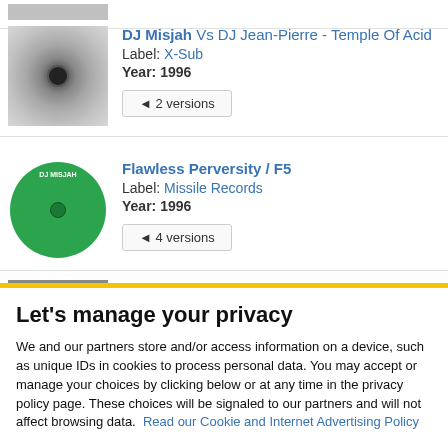[Figure (photo): Vinyl record thumbnail - grey/silver, partially visible at top]
DJ Misjah Vs DJ Jean-Pierre - Temple Of Acid
Label: X-Sub
Year: 1996
◄ 2 versions
[Figure (photo): Green vinyl record label for DJ Misjah - Flawless Perversity / F5]
Flawless Perversity / F5
Label: Missile Records
Year: 1996
◄ 4 versions
Let's manage your privacy
We and our partners store and/or access information on a device, such as unique IDs in cookies to process personal data. You may accept or manage your choices by clicking below or at any time in the privacy policy page. These choices will be signaled to our partners and will not affect browsing data. Read our Cookie and Internet Advertising Policy